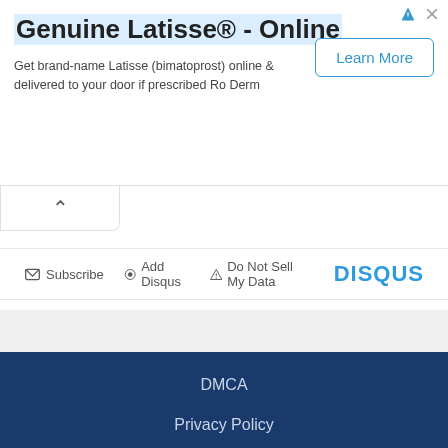[Figure (other): Online advertisement banner for Genuine Latisse® with Learn More button]
Genuine Latisse® - Online
Get brand-name Latisse (bimatoprost) online & delivered to your door if prescribed Ro Derm
Subscribe   Add Disqus   Do Not Sell My Data   DISQUS
Search …
DMCA
Privacy Policy
Request a Book